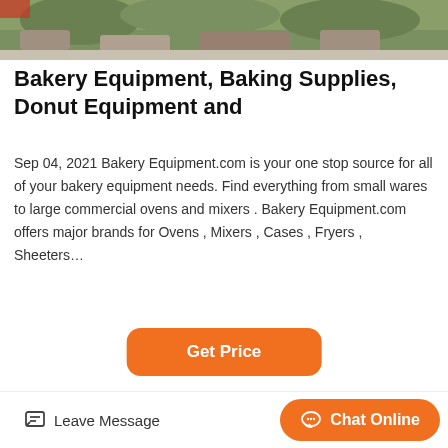[Figure (photo): Outdoor scene with rocks and vegetation, partial view at top of page]
Bakery Equipment, Baking Supplies, Donut Equipment and
Sep 04, 2021 Bakery Equipment.com is your one stop source for all of your bakery equipment needs. Find everything from small wares to large commercial ovens and mixers . Bakery Equipment.com offers major brands for Ovens , Mixers , Cases , Fryers , Sheeters…
[Figure (other): Orange 'Get Price' button]
[Figure (photo): Industrial warehouse or factory interior with red crane beam and yellow machinery]
Leave Message    Chat Online